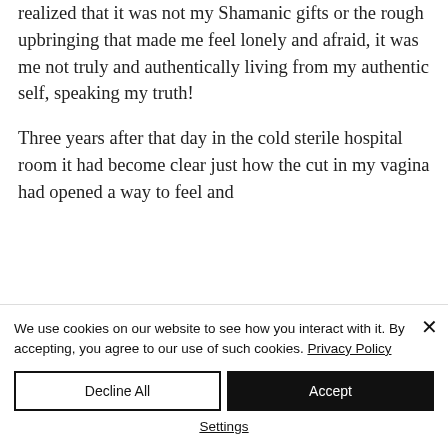realized that it was not my Shamanic gifts or the rough upbringing that made me feel lonely and afraid, it was me not truly and authentically living from my authentic self, speaking my truth!

Three years after that day in the cold sterile hospital room it had become clear just how the cut in my vagina had opened a way to feel and
We use cookies on our website to see how you interact with it. By accepting, you agree to our use of such cookies. Privacy Policy
Decline All
Accept
Settings